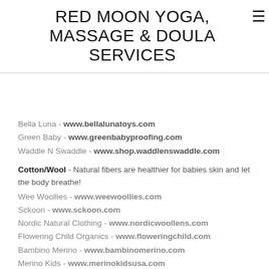RED MOON YOGA, MASSAGE & DOULA SERVICES
Bella Luna - www.bellalunatoys.com
Green Baby - www.greenbabyproofing.com
Waddle N Swaddle - www.shop.waddlenswaddle.com
Cotton/Wool - Natural fibers are healthier for babies skin and let the body breathe!
Wee Woollies - www.weewoollies.com
Sckoon - www.sckoon.com
Nordic Natural Clothing - www.nordicwoollens.com
Flowering Child Organics - www.floweringchild.com
Bambino Merino - www.bambinomerino.com
Merino Kids - www.merinokidsusa.com
Hessnatur - www.hessnatur.com
Danish Woolen Delight - www.danishwool.com
Kinzie Naturals - www.kinzienaturals.com